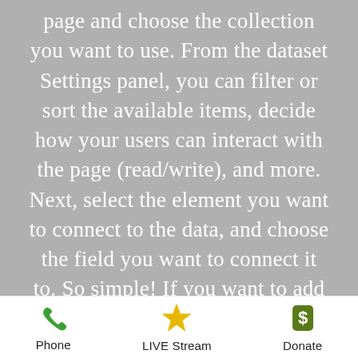page and choose the collection you want to use. From the dataset Settings panel, you can filter or sort the available items, decide how your users can interact with the page (read/write), and more. Next, select the element you want to connect to the data, and choose the field you want to connect it to. So simple! If you want to add even more capabilities, enable Developer Tools to use JavaScript and APIs to add custom interactions and functionality to your site. To see what's possible and get answers to your questions, check out the Wix Code Forum.
[Figure (infographic): Bottom navigation bar with three items: Phone (green phone icon), LIVE Stream (yellow star icon), Donate (dark green dollar sign icon)]